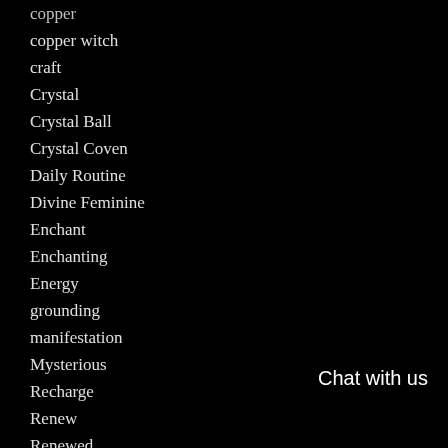copper
copper witch
craft
Crystal
Crystal Ball
Crystal Coven
Daily Routine
Divine Feminine
Enchant
Enchanting
Energy
grounding
manifestation
Mysterious
Recharge
Renew
Renewed
Ritza
Chat with us